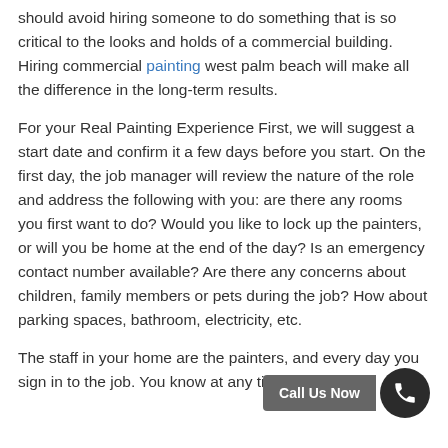should avoid hiring someone to do something that is so critical to the looks and holds of a commercial building. Hiring commercial painting west palm beach will make all the difference in the long-term results.
For your Real Painting Experience First, we will suggest a start date and confirm it a few days before you start. On the first day, the job manager will review the nature of the role and address the following with you: are there any rooms you first want to do? Would you like to lock up the painters, or will you be home at the end of the day? Is an emergency contact number available? Are there any concerns about children, family members or pets during the job? How about parking spaces, bathroom, electricity, etc.
The staff in your home are the painters, and every day you sign in to the job. You know at any time who